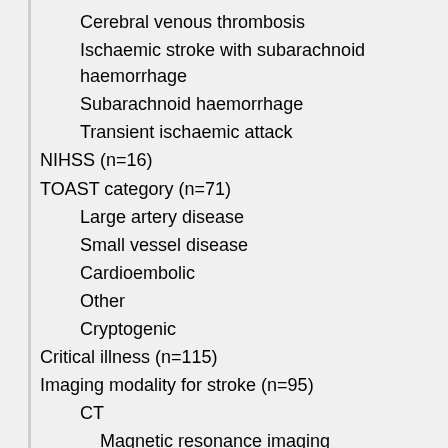Cerebral venous thrombosis
Ischaemic stroke with subarachnoid haemorrhage
Subarachnoid haemorrhage
Transient ischaemic attack
NIHSS (n=16)
TOAST category (n=71)
Large artery disease
Small vessel disease
Cardioembolic
Other
Cryptogenic
Critical illness (n=115)
Imaging modality for stroke (n=95)
CT
Magnetic resonance imaging
Vascular imaging (n=56)
CT angiography
Magnetic resonance angiography
Abnormal chest X-ray (n=13)